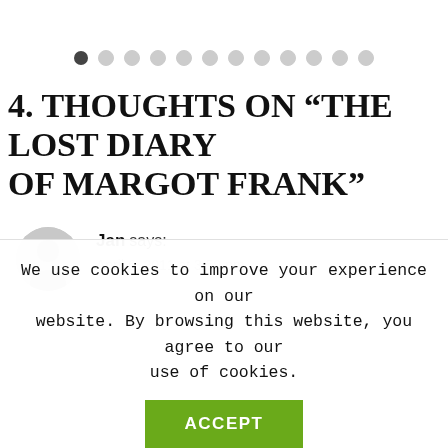[Figure (other): Pagination dots navigation: one filled dark circle followed by eleven empty/light circles in a row]
4. THOUGHTS ON “THE LOST DIARY OF MARGOT FRANK”
[Figure (other): User avatar placeholder: grey circle with silhouette icon]
Jan says:
April 6, 2011 at 3:59 pm
We use cookies to improve your experience on our website. By browsing this website, you agree to our use of cookies.
ACCEPT